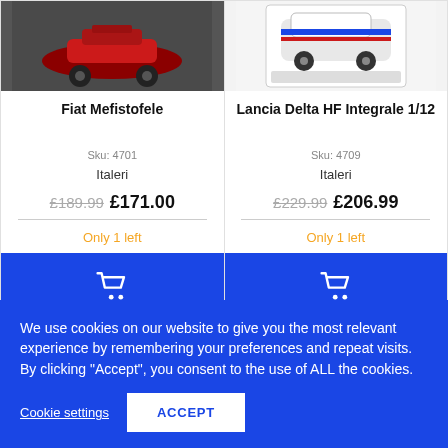[Figure (photo): Photo of a red vintage Fiat Mefistofele race car model on dark background]
Fiat Mefistofele
Sku: 4701
Italeri
£189.99 £171.00
Only 1 left
[Figure (photo): Photo of Lancia Delta HF Integrale 1/12 model kit box on white background]
Lancia Delta HF Integrale 1/12
Sku: 4709
Italeri
£229.99 £206.99
Only 1 left
We use cookies on our website to give you the most relevant experience by remembering your preferences and repeat visits. By clicking "Accept", you consent to the use of ALL the cookies.
Cookie settings
ACCEPT